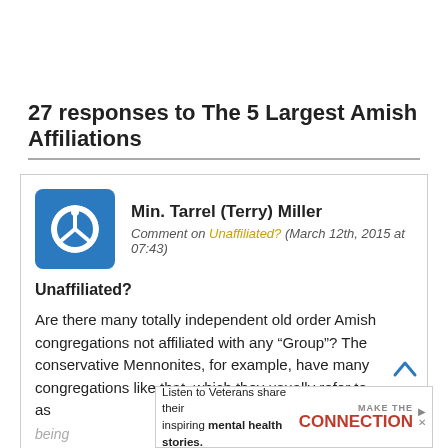27 responses to The 5 Largest Amish Affiliations
Min. Tarrel (Terry) Miller
Comment on Unaffiliated? (March 12th, 2015 at 07:43)
Unaffiliated?
Are there many totally independent old order Amish congregations not affiliated with any “Group”? The conservative Mennonites, for example, have many congregations like that, which they usually refer to as being
[Figure (other): Advertisement banner: Listen to Veterans share their inspiring mental health stories. Make the Connection.]